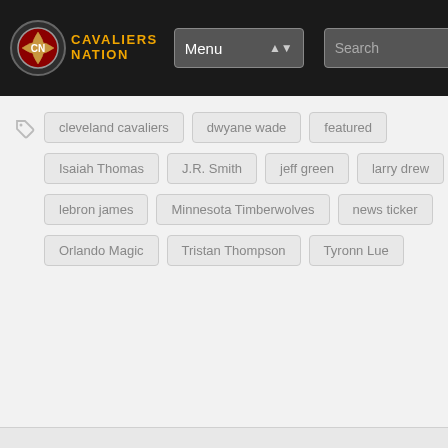Cavaliers Nation | Menu | Search
cleveland cavaliers
dwyane wade
featured
Isaiah Thomas
J.R. Smith
jeff green
larry drew
lebron james
Minnesota Timberwolves
news ticker
Orlando Magic
Tristan Thompson
Tyronn Lue